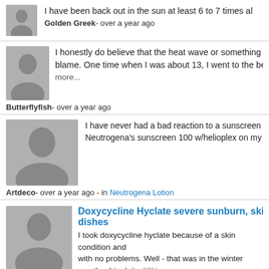I have been back out in the sun at least 6 to 7 times al...
Golden Greek- over a year ago
I honestly do believe that the heat wave or something t... blame. One time when I was about 13, I went to the be... more...
Butterflyfish- over a year ago
I have never had a bad reaction to a sunscreen product. H... Neutrogena's sunscreen 100 w/helioplex on my face. On d...
Artdeco- over a year ago - in Neutrogena Lotion
Doxycycline Hyclate severe sunburn, skin condition, d... dishes
I took doxycycline hyclate because of a skin condition and... with no problems. Well - that was in the winter months. I took it - 83%
Lilypad3- over a year ago - 67 Replies - in Doxycycline Hyclate
I am having the same problem. I am very tan, even th...